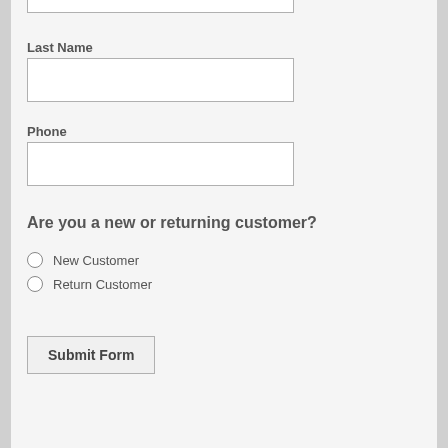Last Name
Phone
Are you a new or returning customer?
New Customer
Return Customer
Submit Form